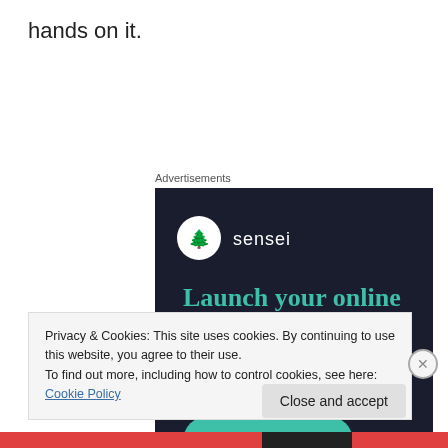hands on it.
Advertisements
[Figure (illustration): Sensei advertisement banner on dark navy background. Shows Sensei logo (tree in white circle) with text 'sensei', headline 'Launch your online course with WordPress' in teal, and a 'Learn More' teal pill button.]
Privacy & Cookies: This site uses cookies. By continuing to use this website, you agree to their use.
To find out more, including how to control cookies, see here: Cookie Policy
Close and accept